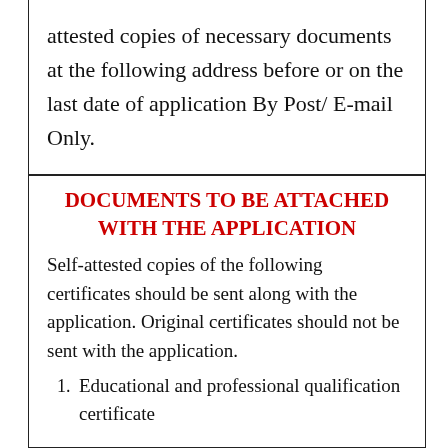attested copies of necessary documents at the following address before or on the last date of application By Post/ E-mail Only.
DOCUMENTS TO BE ATTACHED WITH THE APPLICATION
Self-attested copies of the following certificates should be sent along with the application. Original certificates should not be sent with the application.
Educational and professional qualification certificate